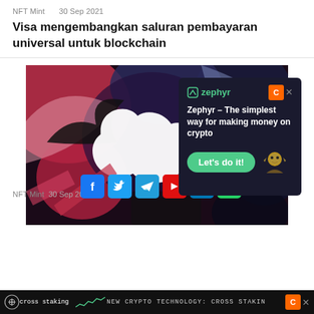NFT Mint  30 Sep 2021
Visa mengembangkan saluran pembayaran universal untuk blockchain
[Figure (photo): Twitter bird logo artwork with multiple layered colorful bird silhouettes in red, blue, pink and dark tones on a dark background, with a large white Twitter bird in the center. An advertisement overlay for 'Zephyr' is visible in the bottom-right corner of the image, with text 'Zephyr - The simplest way for making money on crypto' and a green 'Let's do it!' button.]
cross staking   NEW CRYPTO TECHNOLOGY: CROSS STAKING